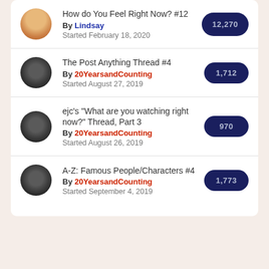How do You Feel Right Now? #12
By Lindsay
Started February 18, 2020
12,270
The Post Anything Thread #4
By 20YearsandCounting
Started August 27, 2019
1,712
ejc's "What are you watching right now?" Thread, Part 3
By 20YearsandCounting
Started August 26, 2019
970
A-Z: Famous People/Characters #4
By 20YearsandCounting
Started September 4, 2019
1,773